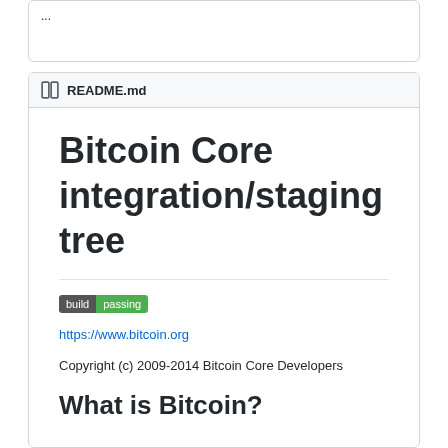...
README.md
Bitcoin Core integration/staging tree
[Figure (other): Build passing badge]
https://www.bitcoin.org
Copyright (c) 2009-2014 Bitcoin Core Developers
What is Bitcoin?